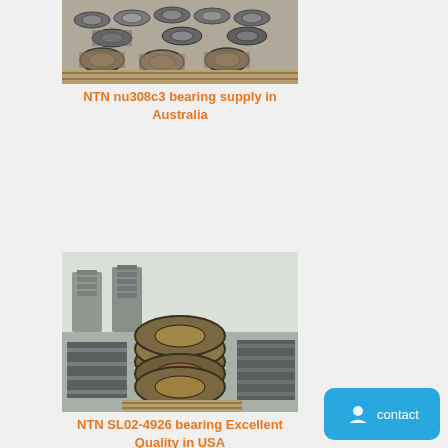[Figure (photo): Photo of multiple NTN cylindrical roller bearings stacked and arranged on a wooden surface]
NTN nu308c3 bearing supply in Australia
[Figure (photo): Photo of multiple NTN bearings stacked in piles in an industrial warehouse setting]
NTN SL02-4926 bearing Excellent Quality in USA